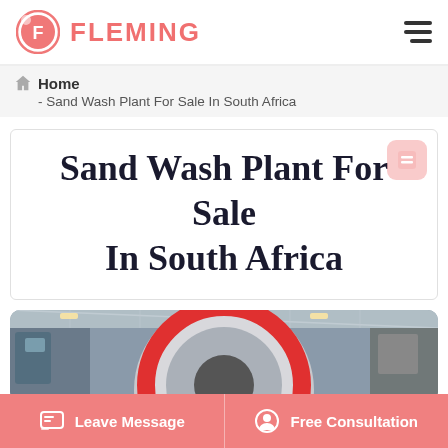FLEMING
Home - Sand Wash Plant For Sale In South Africa
Sand Wash Plant For Sale In South Africa
[Figure (photo): Industrial sand wash plant equipment in a factory/warehouse setting, showing large circular machinery with red and silver components, high ceiling with lights]
Leave Message   Free Consultation